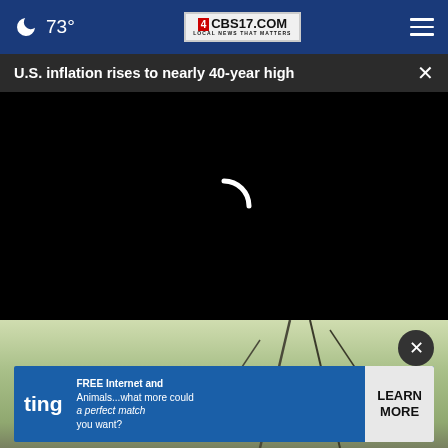🌙 73° | CBS17.COM LOCAL NEWS THAT MATTERS | ☰
U.S. inflation rises to nearly 40-year high
[Figure (screenshot): Black video player area with white loading spinner in center]
[Figure (photo): Outdoor nature/trees photo partially visible below video, with circular close button]
[Figure (screenshot): Ting advertisement banner: 'FREE Internet and Animals...what more could a perfect match you want?' with LEARN MORE button]